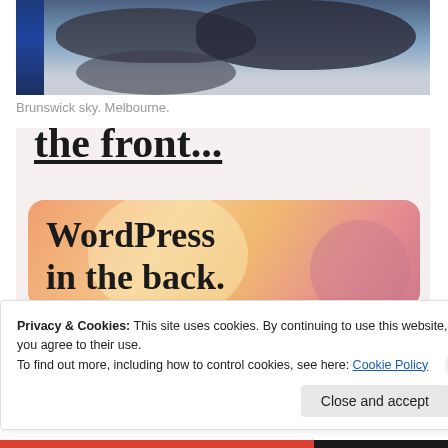[Figure (photo): A photo of a cloudy sky over Brunswick, Melbourne, with blue building elements on the left side]
Brunswick sky. Melbourne.
[Figure (screenshot): A webpage banner showing text 'Business in the front...' above an orange/pink gradient box with text 'WordPress in the back.']
Privacy & Cookies: This site uses cookies. By continuing to use this website, you agree to their use.
To find out more, including how to control cookies, see here: Cookie Policy
Close and accept